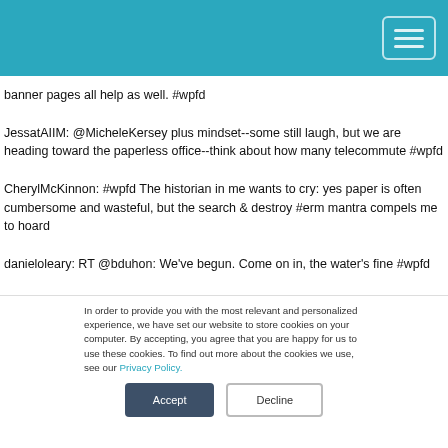banner pages all help as well. #wpfd
JessatAIIM: @MicheleKersey plus mindset--some still laugh, but we are heading toward the paperless office--think about how many telecommute #wpfd
CherylMcKinnon: #wpfd The historian in me wants to cry: yes paper is often cumbersome and wasteful, but the search & destroy #erm mantra compels me to hoard
danieloleary: RT @bduhon: We've begun. Come on in, the water's fine #wpfd
In order to provide you with the most relevant and personalized experience, we have set our website to store cookies on your computer. By accepting, you agree that you are happy for us to use these cookies. To find out more about the cookies we use, see our Privacy Policy.